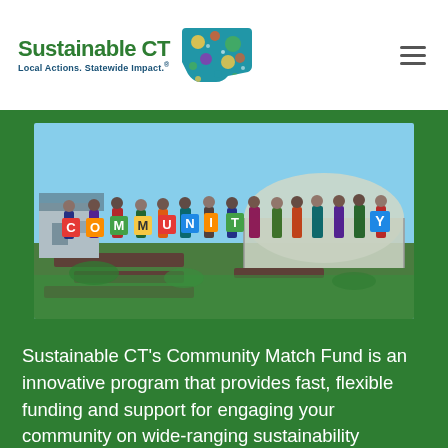Sustainable CT — Local Actions. Statewide Impact.
[Figure (photo): Group of people standing in a community garden holding colorful letters spelling COMMUNITY, with a greenhouse and blue sky in the background.]
Sustainable CT's Community Match Fund is an innovative program that provides fast, flexible funding and support for engaging your community on wide-ranging sustainability projects. Anyone in a Sustainable CT registered municipality can participate and eligible projects will receive dollar...